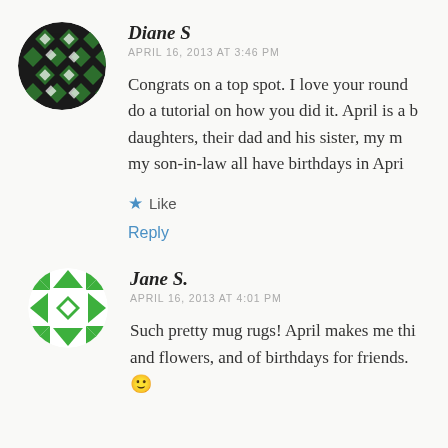[Figure (photo): Circular avatar with dark green geometric diamond/cross pattern on black background for user Diane S]
Diane S
APRIL 16, 2013 AT 3:46 PM
Congrats on a top spot. I love your round do a tutorial on how you did it. April is a b daughters, their dad and his sister, my m my son-in-law all have birthdays in Apri
★ Like
Reply
[Figure (photo): Circular avatar with bright green and white geometric star/diamond pattern for user Jane S.]
Jane S.
APRIL 16, 2013 AT 4:01 PM
Such pretty mug rugs! April makes me thi and flowers, and of birthdays for friends. 🙂